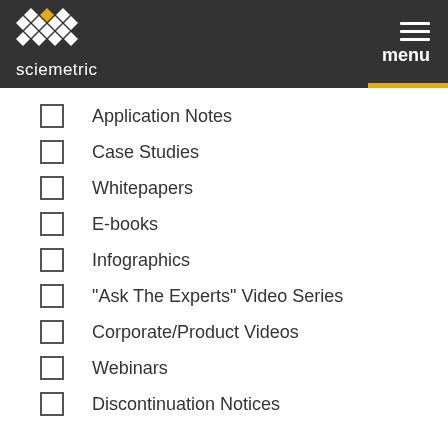sciemetric | menu
Application Notes
Case Studies
Whitepapers
E-books
Infographics
"Ask The Experts" Video Series
Corporate/Product Videos
Webinars
Discontinuation Notices